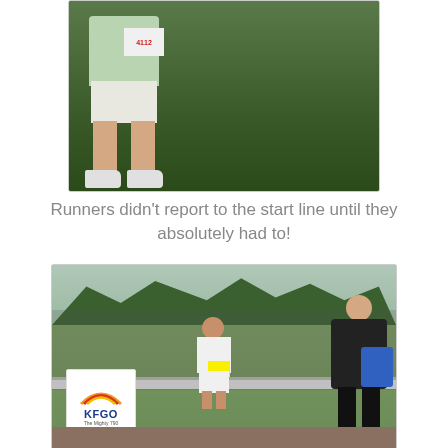[Figure (photo): A runner standing on grass wearing bib number 4112, a mint green jacket, and white shorts with running shoes. Only the body from chest down is visible.]
Runners didn't report to the start line until they absolutely had to!
[Figure (photo): Crowd of runners gathered at a race start line behind metal barriers. A KFGO radio station sign is visible. A woman in white smiles at the camera while a man with a blue Adidas bag on his back stands in the foreground.]